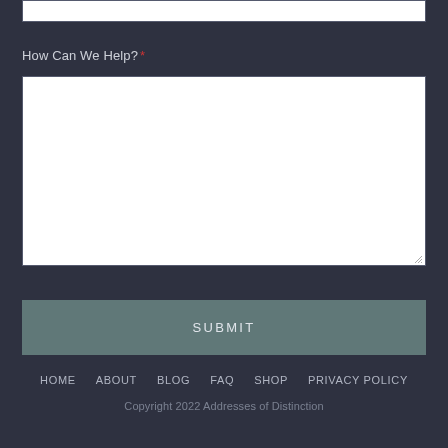[Figure (screenshot): Top partial input field (text box, white background) visible at top of page]
How Can We Help? *
[Figure (screenshot): Large white textarea input box for user message]
[Figure (screenshot): Submit button with teal-grey background and SUBMIT label]
HOME   ABOUT   BLOG   FAQ   SHOP   PRIVACY POLICY
Copyright 2022 Addresses of Distinction